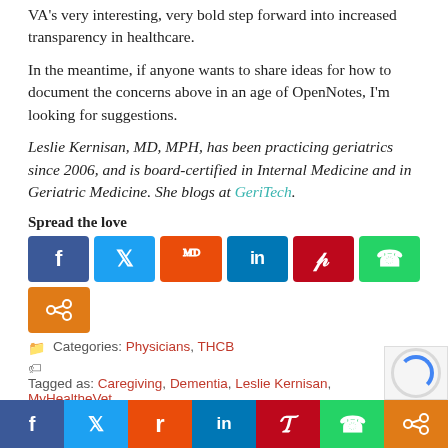VA's very interesting, very bold step forward into increased transparency in healthcare.
In the meantime, if anyone wants to share ideas for how to document the concerns above in an age of OpenNotes, I'm looking for suggestions.
Leslie Kernisan, MD, MPH, has been practicing geriatrics since 2006, and is board-certified in Internal Medicine and in Geriatric Medicine. She blogs at GeriTech.
Spread the love
[Figure (infographic): Social share buttons: Facebook (blue), Twitter (light blue), Reddit (orange), LinkedIn (dark blue), Pinterest (dark red), WhatsApp (green), and a generic share button (orange)]
Categories: Physicians, THCB
Tagged as: Caregiving, Dementia, Leslie Kernisan, MyHealtheVet, OpenNotes, VA
[Figure (infographic): Bottom social share bar with icons for Facebook, Twitter, Reddit, LinkedIn, Pinterest, WhatsApp, and generic share]